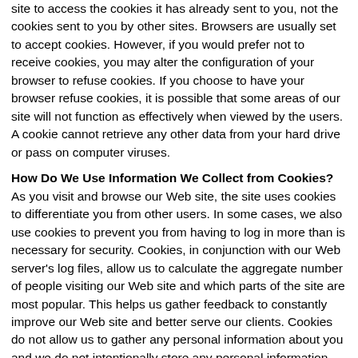site to access the cookies it has already sent to you, not the cookies sent to you by other sites. Browsers are usually set to accept cookies. However, if you would prefer not to receive cookies, you may alter the configuration of your browser to refuse cookies. If you choose to have your browser refuse cookies, it is possible that some areas of our site will not function as effectively when viewed by the users. A cookie cannot retrieve any other data from your hard drive or pass on computer viruses.
How Do We Use Information We Collect from Cookies?
As you visit and browse our Web site, the site uses cookies to differentiate you from other users. In some cases, we also use cookies to prevent you from having to log in more than is necessary for security. Cookies, in conjunction with our Web server's log files, allow us to calculate the aggregate number of people visiting our Web site and which parts of the site are most popular. This helps us gather feedback to constantly improve our Web site and better serve our clients. Cookies do not allow us to gather any personal information about you and we do not intentionally store any personal information that your browser provided to us in your cookies.
IP Addresses
IP addresses are used by your computer every time you are connected to the Internet. Your IP address is a number that is used by